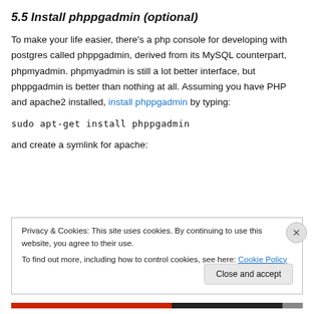5.5 Install phppgadmin (optional)
To make your life easier, there's a php console for developing with postgres called phppgadmin, derived from its MySQL counterpart, phpmyadmin. phpmyadmin is still a lot better interface, but phppgadmin is better than nothing at all. Assuming you have PHP and apache2 installed, install phppgadmin by typing:
and create a symlink for apache:
Privacy & Cookies: This site uses cookies. By continuing to use this website, you agree to their use.
To find out more, including how to control cookies, see here: Cookie Policy